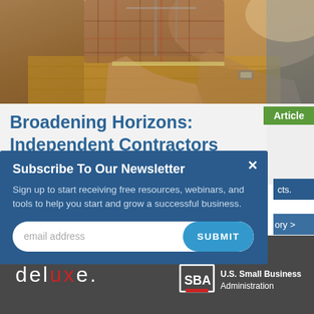[Figure (photo): A person working at a wooden workbench, measuring or drawing with a pencil and ruler, wearing a plaid shirt and watch — a woodworking or carpentry scene.]
Article
Broadening Horizons: Independent Contractors
Subscribe To Our Newsletter
Sign up to start receiving free resources, webinars, and tools to help you start and grow a successful business.
email address
SUBMIT
deluxe.
POWERED BY
U.S. Small Business Administration